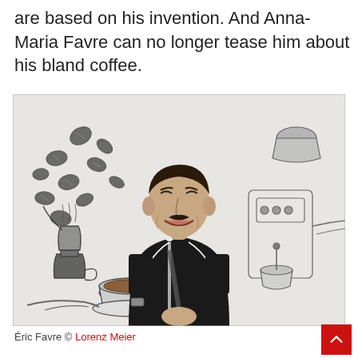are based on his invention. And Anna-Maria Favre can no longer tease him about his bland coffee.
[Figure (photo): Éric Favre smiling in a dark suit with a tie, photographed in front of a pen-and-ink illustration showing coffee beans, a moka pot, a coffee cup, and coffee machine components on a white background.]
Éric Favre © Lorenz Meier